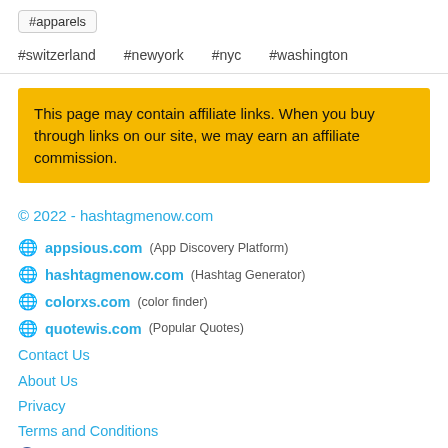#apparels
#switzerland  #newyork  #nyc  #washington
This page may contain affiliate links. When you buy through links on our site, we may earn an affiliate commission.
© 2022 - hashtagmenow.com
appsious.com (App Discovery Platform)
hashtagmenow.com (Hashtag Generator)
colorxs.com (color finder)
quotewis.com (Popular Quotes)
Contact Us
About Us
Privacy
Terms and Conditions
facebook